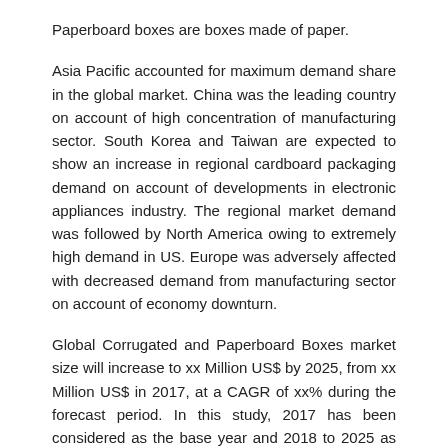Paperboard boxes are boxes made of paper.
Asia Pacific accounted for maximum demand share in the global market. China was the leading country on account of high concentration of manufacturing sector. South Korea and Taiwan are expected to show an increase in regional cardboard packaging demand on account of developments in electronic appliances industry. The regional market demand was followed by North America owing to extremely high demand in US. Europe was adversely affected with decreased demand from manufacturing sector on account of economy downturn.
Global Corrugated and Paperboard Boxes market size will increase to xx Million US$ by 2025, from xx Million US$ in 2017, at a CAGR of xx% during the forecast period. In this study, 2017 has been considered as the base year and 2018 to 2025 as the forecast period to estimate the market size for Corrugated and Paperboard Boxes.